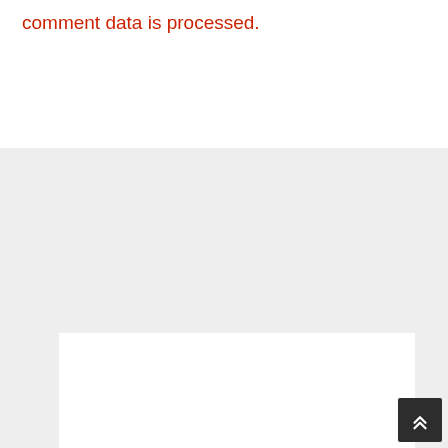comment data is processed.
[Figure (other): White card/panel on gray background section]
[Figure (other): Back to top button - dark square with chevron up arrow icon]